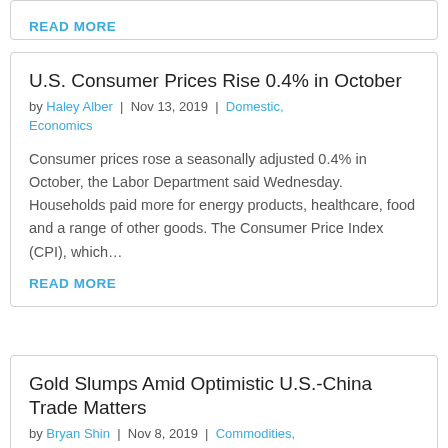READ MORE
U.S. Consumer Prices Rise 0.4% in October
by Haley Alber | Nov 13, 2019 | Domestic, Economics
Consumer prices rose a seasonally adjusted 0.4% in October, the Labor Department said Wednesday. Households paid more for energy products, healthcare, food and a range of other goods. The Consumer Price Index (CPI), which…
READ MORE
Gold Slumps Amid Optimistic U.S.-China Trade Matters
by Bryan Shin | Nov 8, 2019 | Commodities,